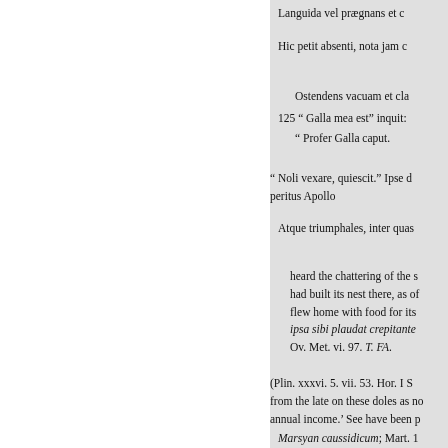Languida vel prægnans et c
Hic petit absenti, nota jam c
Ostendens vacuam et cla
125 “ Galla mea est” inquit:
“ Profer Galla caput.
“ Noli vexare, quiescit.” Ipse d
peritus Apollo
Atque triumphales, inter quas
heard the chattering of the s
had built its nest there, as of
flew home with food for its
ipsa sibi plaudat crepitante
Ov. Met. vi. 97. T. FA.
(Plin. xxxvi. 5. vii. 53. Hor. I S
from the late on these doles as no
annual income.’ See have been p
Marsyan caussidicum; Mart. 1
In the same spot *These poor 
means of paying their tailor’s, sta